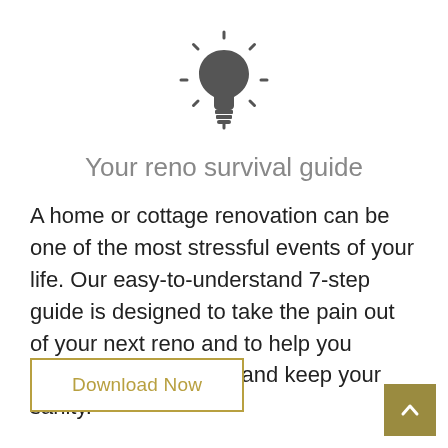[Figure (illustration): Light bulb icon with rays, dark gray outline style]
Your reno survival guide
A home or cottage renovation can be one of the most stressful events of your life. Our easy-to-understand 7-step guide is designed to take the pain out of your next reno and to help you maintain your budget and keep your sanity.
Download Now
[Figure (illustration): Back-to-top arrow button, gold/olive square with white chevron up arrow]